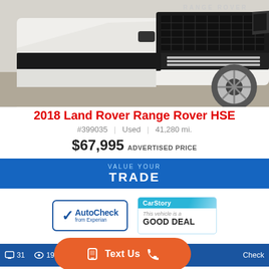[Figure (photo): White 2018 Land Rover Range Rover HSE front view, parked on pavement]
2018 Land Rover Range Rover HSE
#399035 | Used | 41,280 mi.
$67,995 ADVERTISED PRICE
VALUE YOUR TRADE
[Figure (logo): AutoCheck from Experian logo in blue border box]
[Figure (logo): CarStory badge: This vehicle is a GOOD DEAL]
31 | 192 | Test Drive | Check
Text Us